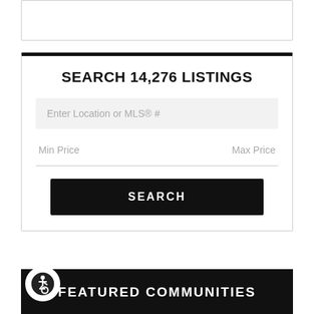SEARCH 14,276 LISTINGS
Enter Location or MLS® #
Min Price
Max Price
SEARCH
FEATURED COMMUNITIES